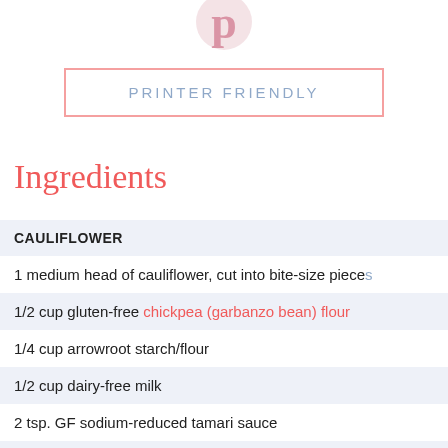[Figure (logo): Pinterest logo (pink 'p' letter)]
PRINTER FRIENDLY
Ingredients
CAULIFLOWER
1 medium head of cauliflower, cut into bite-size pieces
1/2 cup gluten-free chickpea (garbanzo bean) flour
1/4 cup arrowroot starch/flour
1/2 cup dairy-free milk
2 tsp. GF sodium-reduced tamari sauce
KUNG PAO SAUCE